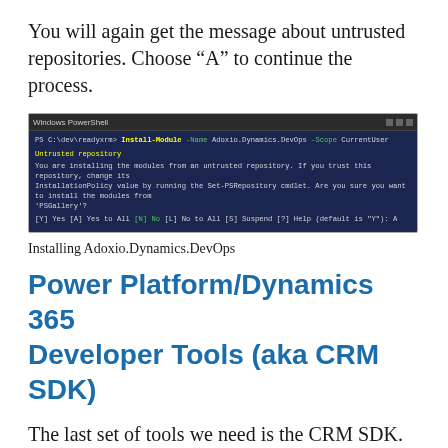You will again get the message about untrusted repositories. Choose “A” to continue the process.
[Figure (screenshot): PowerShell terminal showing Install-Module command for Adoxio.Dynamics.DevOps with untrusted repository warning and prompt to continue.]
Installing Adoxio.Dynamics.DevOps
Power Platform/Dynamics 365 Developer Tools (aka CRM SDK)
The last set of tools we need is the CRM SDK. These are not PowerShell commandlets but rather a set of tools such as the Solution Packager and Data Migration Tool...